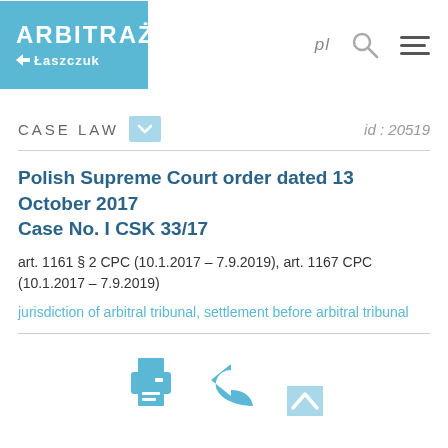[Figure (logo): ARBITRAŻ Łaszczuk law firm logo, light blue background, white text]
CASE LAW   id : 20519
Polish Supreme Court order dated 13 October 2017 Case No. I CSK 33/17
art. 1161 § 2 CPC (10.1.2017 – 7.9.2019), art. 1167 CPC (10.1.2017 – 7.9.2019)
jurisdiction of arbitral tribunal, settlement before arbitral tribunal
[Figure (infographic): Print icon, back arrow icon, and scroll-to-top icon]